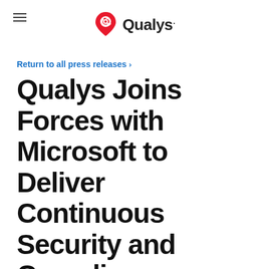Qualys
Return to all press releases >
Qualys Joins Forces with Microsoft to Deliver Continuous Security and Compliance